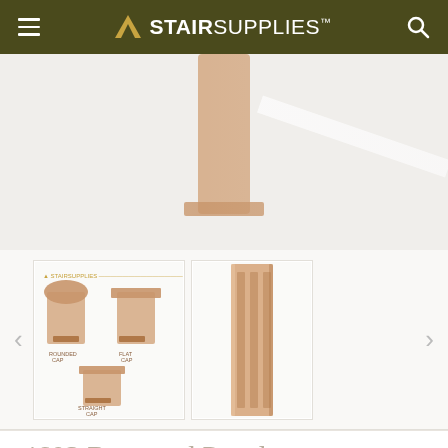STAIRSUPPLIES™
[Figure (photo): Close-up product photo of a recessed panel baluster post top, showing wood grain detail against a light background]
[Figure (photo): Thumbnail showing StairSupplies diagram of three recessed panel cap styles: rounded cap, flat cap, and straight cap]
[Figure (photo): Thumbnail showing close-up side view of recessed panel baluster wood detail]
4603 Recessed Panel